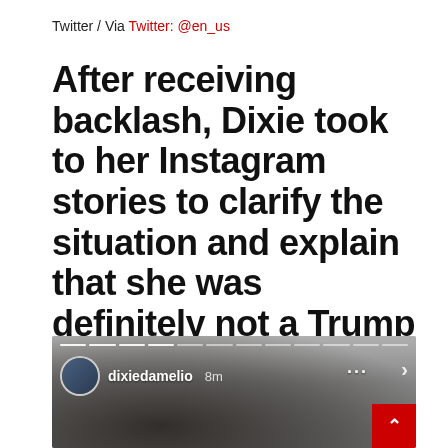Twitter / Via Twitter: @en_us
After receiving backlash, Dixie took to her Instagram stories to clarify the situation and explain that she was definitely not a Trump supporter:
[Figure (screenshot): Instagram Story screenshot showing dixiedamelio username, 8m time stamp, story progress bars, three-dot menu, forward arrow, and a photo of dark hair in the background. A red scroll-to-top button is in the bottom right corner.]